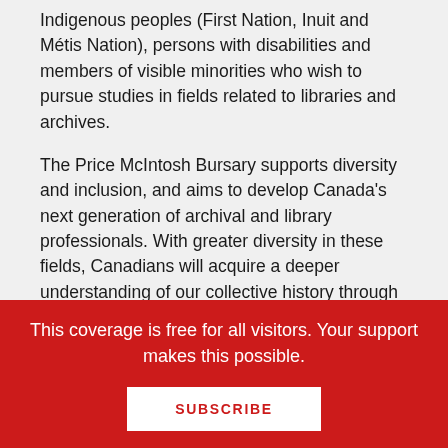Indigenous peoples (First Nation, Inuit and Métis Nation), persons with disabilities and members of visible minorities who wish to pursue studies in fields related to libraries and archives.
The Price McIntosh Bursary supports diversity and inclusion, and aims to develop Canada's next generation of archival and library professionals. With greater diversity in these fields, Canadians will acquire a deeper understanding of our collective history through diverse narratives, experiences and interpretations.
This coverage is free for all visitors. Your support makes this possible.
SUBSCRIBE